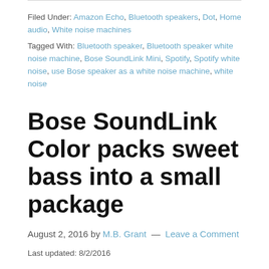Filed Under: Amazon Echo, Bluetooth speakers, Dot, Home audio, White noise machines
Tagged With: Bluetooth speaker, Bluetooth speaker white noise machine, Bose SoundLink Mini, Spotify, Spotify white noise, use Bose speaker as a white noise machine, white noise
Bose SoundLink Color packs sweet bass into a small package
August 2, 2016 by M.B. Grant — Leave a Comment
Last updated: 8/2/2016